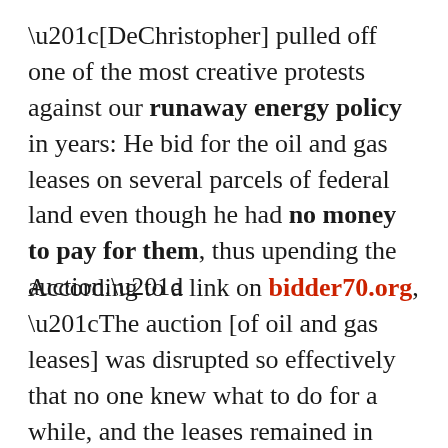“[DeChristopher] pulled off one of the most creative protests against our runaway energy policy in years: He bid for the oil and gas leases on several parcels of federal land even though he had no money to pay for them, thus upending the auction.”
According to a link on bidder70.org, “The auction [of oil and gas leases] was disrupted so effectively that no one knew what to do for a while, and the leases remained in suspension. Later, a